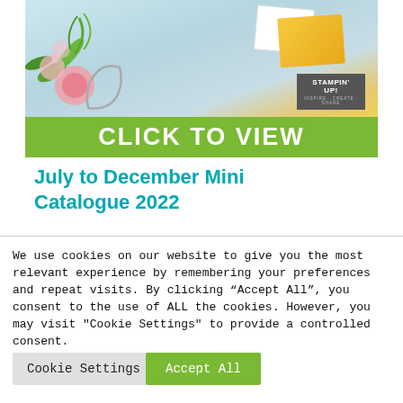[Figure (photo): Stampin' Up! catalogue banner showing floral craft supplies with pink flowers, green leaves, yellow card, and Stampin' Up! logo badge, with a green bar reading CLICK TO VIEW]
July to December Mini Catalogue 2022
We use cookies on our website to give you the most relevant experience by remembering your preferences and repeat visits. By clicking “Accept All”, you consent to the use of ALL the cookies. However, you may visit "Cookie Settings" to provide a controlled consent.
Cookie Settings
Accept All